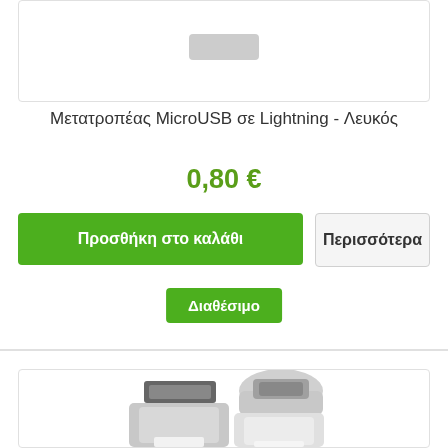[Figure (photo): Partial view of a MicroUSB to Lightning adapter against a white background with a light gray border card]
Μετατροπέας MicroUSB σε Lightning - Λευκός
0,80 €
Προσθήκη στο καλάθι
Περισσότερα
Διαθέσιμο
[Figure (photo): Two USB-C / MicroUSB adapter connectors shown from above, silver/white color, on a white background inside a bordered card]